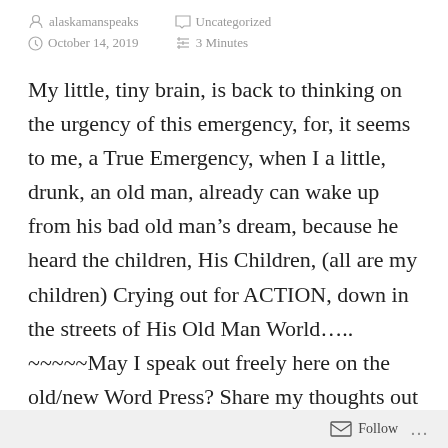alaskamanspeaks   Uncategorized   October 14, 2019   3 Minutes
My little, tiny brain, is back to thinking on the urgency of this emergency, for, it seems to me, a True Emergency, when I a little, drunk, an old man, already can wake up from his bad old man’s dream, because he heard the children, His Children, (all are my children) Crying out for ACTION, down in the streets of His Old Man World….. ~~~~~May I speak out freely here on the old/new Word Press? Share my thoughts out on this newly available Medium? Like just go back and forth, between them and seek out a common voice??? I am just a little old guy, a guy who discovered for his-self
Follow